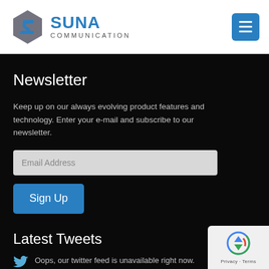[Figure (logo): Suna Communication logo — hexagonal S icon in blue/grey on the left, 'SUNA' in blue bold text and 'COMMUNICATION' in grey small caps to the right]
[Figure (other): Blue hamburger/menu button (three horizontal white lines on blue square) in the top-right corner]
Newsletter
Keep up on our always evolving product features and technology. Enter your e-mail and subscribe to our newsletter.
[Figure (other): Email Address input field (light grey rectangle with placeholder text 'Email Address')]
[Figure (other): Blue 'Sign Up' button]
Latest Tweets
Oops, our twitter feed is unavailable right now.
[Figure (other): reCAPTCHA badge in the bottom-right corner showing the reCAPTCHA logo and 'Privacy · Terms' text]